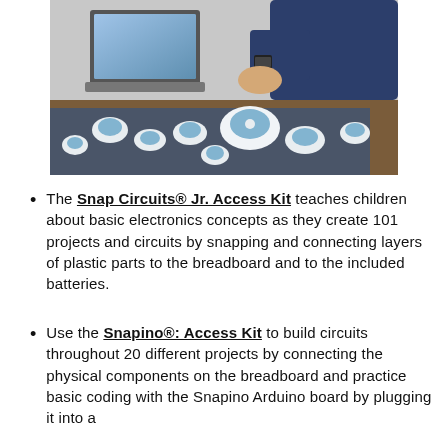[Figure (photo): A person's hands working with blue and white snap circuit components on a dark textured mat on a wooden desk, with a laptop visible in the background.]
The Snap Circuits® Jr. Access Kit teaches children about basic electronics concepts as they create 101 projects and circuits by snapping and connecting layers of plastic parts to the breadboard and to the included batteries.
Use the Snapino®: Access Kit to build circuits throughout 20 different projects by connecting the physical components on the breadboard and practice basic coding with the Snapino Arduino board by plugging it into a